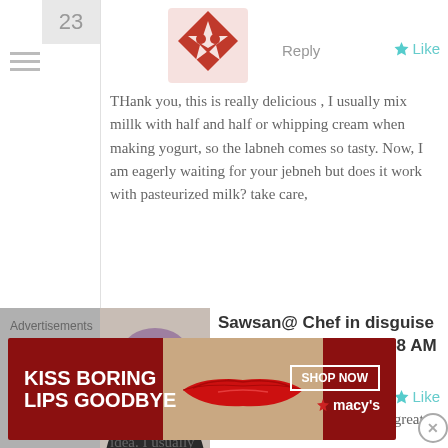25
[Figure (illustration): Decorative red geometric avatar icon with flower/star pattern]
Reply
Like
THank you, this is really delicious , I usually mix millk with half and half or whipping cream when making yogurt, so the labneh comes so tasty. Now, I am eagerly waiting for your jebneh but does it work with pasteurized milk? take care,
26
[Figure (photo): Photo of a woman wearing a white hijab, smiling]
Sawsan@ Chef in disguise on May 13, 2012 at 9:58 AM
Reply
Like
Hello Huda, mixing milk and half and half is a great idea. I usually
Advertisements
[Figure (illustration): Macy's advertisement banner: KISS BORING LIPS GOODBYE with red lips photo and SHOP NOW button with Macy's star logo]